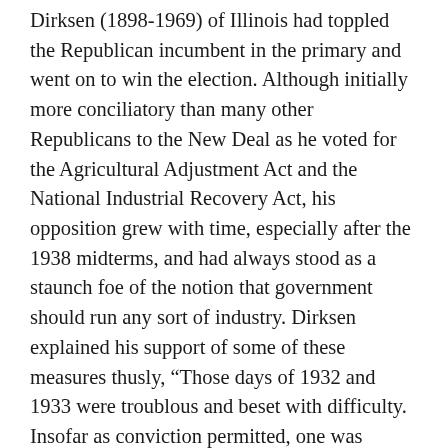Dirksen (1898-1969) of Illinois had toppled the Republican incumbent in the primary and went on to win the election. Although initially more conciliatory than many other Republicans to the New Deal as he voted for the Agricultural Adjustment Act and the National Industrial Recovery Act, his opposition grew with time, especially after the 1938 midterms, and had always stood as a staunch foe of the notion that government should run any sort of industry. Dirksen explained his support of some of these measures thusly, “Those days of 1932 and 1933 were troublous and beset with difficulty. Insofar as conviction permitted, one was expected to adjourn all partisanship and participate in the common enterprise of lifting the Nation from its despondency” (Dirksen). He also in retrospect concluded that, “the New Deal was long on reform, much longer on relief, yet very short on actual recovery and restoration of normal conditions” and was disturbed by the level of power being vested in the presidency and its